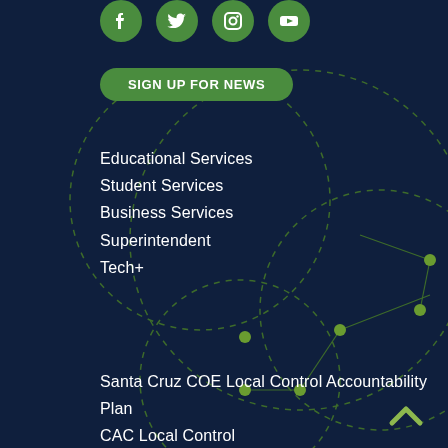[Figure (illustration): Social media icons (Facebook, Twitter, Instagram, YouTube) as circular green buttons at top of page]
SIGN UP FOR NEWS
Educational Services
Student Services
Business Services
Superintendent
Tech+
Santa Cruz COE Local Control Accountability Plan
CAC Local Control
Accountability Plan
Website Accessibility
Privacy
Title IX
[Figure (illustration): Network/node decorative graphic with green dashed circles and dots on dark navy background]
^ (up arrow/back to top chevron icon, green)